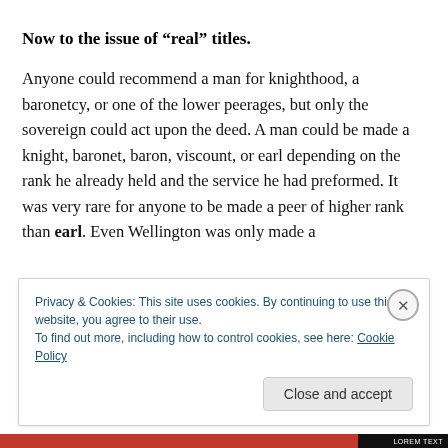Now to the issue of “real” titles.
Anyone could recommend a man for knighthood, a baronetcy, or one of the lower peerages, but only the sovereign could act upon the deed. A man could be made a knight, baronet, baron, viscount, or earl depending on the rank he already held and the service he had preformed. It was very rare for anyone to be made a peer of higher rank than earl. Even Wellington was only made a
Privacy & Cookies: This site uses cookies. By continuing to use this website, you agree to their use.
To find out more, including how to control cookies, see here: Cookie Policy